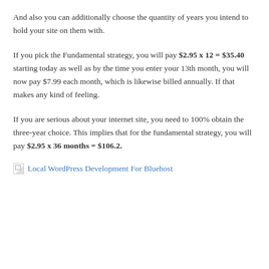And also you can additionally choose the quantity of years you intend to hold your site on them with.
If you pick the Fundamental strategy, you will pay $2.95 x 12 = $35.40 starting today as well as by the time you enter your 13th month, you will now pay $7.99 each month, which is likewise billed annually. If that makes any kind of feeling.
If you are serious about your internet site, you need to 100% obtain the three-year choice. This implies that for the fundamental strategy, you will pay $2.95 x 36 months = $106.2.
[Figure (other): Broken image placeholder linked to 'Local WordPress Development For Bluehost']